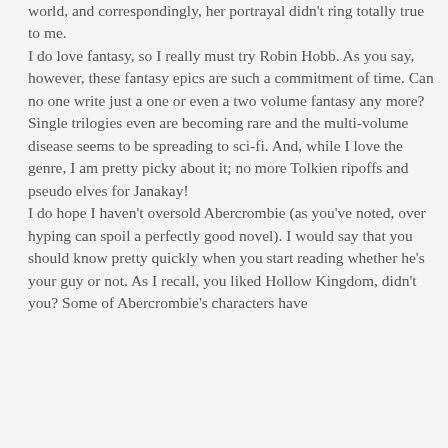world, and correspondingly, her portrayal didn't ring totally true to me.
I do love fantasy, so I really must try Robin Hobb. As you say, however, these fantasy epics are such a commitment of time. Can no one write just a one or even a two volume fantasy any more? Single trilogies even are becoming rare and the multi-volume disease seems to be spreading to sci-fi. And, while I love the genre, I am pretty picky about it; no more Tolkien ripoffs and pseudo elves for Janakay!
I do hope I haven't oversold Abercrombie (as you've noted, over hyping can spoil a perfectly good novel). I would say that you should know pretty quickly when you start reading whether he's your guy or not. As I recall, you liked Hollow Kingdom, didn't you? Some of Abercrombie's characters have